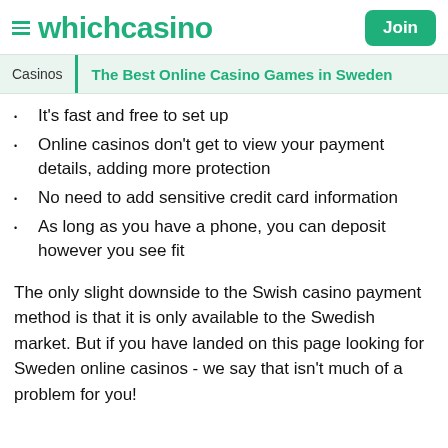whichcasino
The Best Online Casino Games in Sweden
It's fast and free to set up
Online casinos don't get to view your payment details, adding more protection
No need to add sensitive credit card information
As long as you have a phone, you can deposit however you see fit
The only slight downside to the Swish casino payment method is that it is only available to the Swedish market. But if you have landed on this page looking for Sweden online casinos - we say that isn't much of a problem for you!